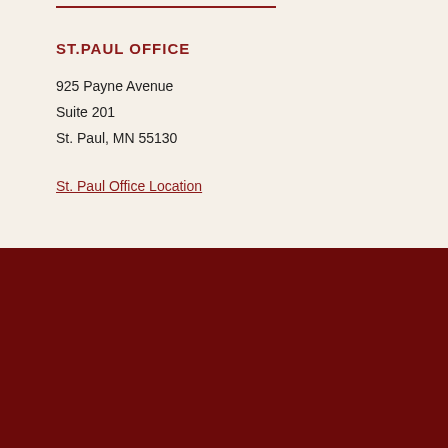ST.PAUL OFFICE
925 Payne Avenue
Suite 201
St. Paul, MN 55130
St. Paul Office Location
© 2022 Noack Law Office • All Rights Reserved
Disclaimer | Site Map | Privacy Policy | Business Development Solutions by FindLaw, part of Thomson Reuters
REVIEW US